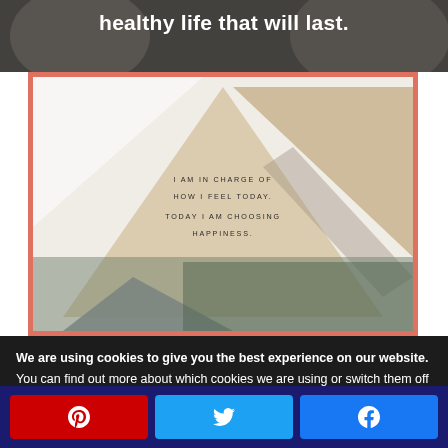[Figure (photo): Top cropped image with white bold text overlay reading 'healthy life that will last.']
[Figure (illustration): Geometric triangle design card with salmon border. Large beige/cream triangles and a smaller grey triangle overlaid on a photo background. White/grey abstract shapes. Quote text centered reads: 'I AM IN CHARGE OF HOW I FEEL TODAY. TODAY I AM CHOOSING HAPPINESS.']
We are using cookies to give you the best experience on our website.
You can find out more about which cookies we are using or switch them off in settings.
[Figure (infographic): Bottom share bar with three buttons: Pinterest (red), Twitter (light blue), Facebook (blue), each with their respective icons]